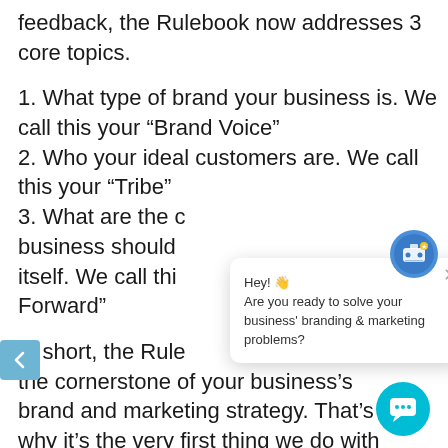feedback, the Rulebook now addresses 3 core topics.
1. What type of brand your business is. We call this your “Brand Voice”
2. Who your ideal customers are. We call this your “Tribe”
3. What are the [core ideas/principles] your business should [express/present] itself. We call this [your “Brand] Forward”
In short, the Rule[book is] the cornerstone of your business’s brand and marketing strategy. That’s why it’s the very first thing we do with
[Figure (screenshot): Chat support popup with avatar icon, close button, and message: Hey! Are you ready to solve your business' branding & marketing problems?]
[Figure (other): Teal circular chat button in bottom right corner]
[Figure (other): Blue-grey left navigation arrow on left edge]